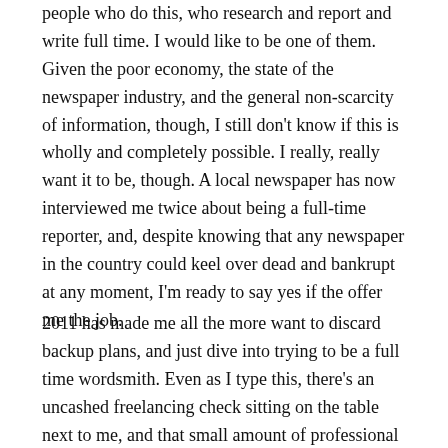people who do this, who research and report and write full time. I would like to be one of them. Given the poor economy, the state of the newspaper industry, and the general non-scarcity of information, though, I still don't know if this is wholly and completely possible. I really, really want it to be, though. A local newspaper has now interviewed me twice about being a full-time reporter, and, despite knowing that any newspaper in the country could keel over dead and bankrupt at any moment, I'm ready to say yes if the offer me the job.
2011 has made me all the more want to discard backup plans, and just dive into trying to be a full time wordsmith. Even as I type this, there's an uncashed freelancing check sitting on the table next to me, and that small amount of professional success only makes me fantasize more about going whole hog with it.